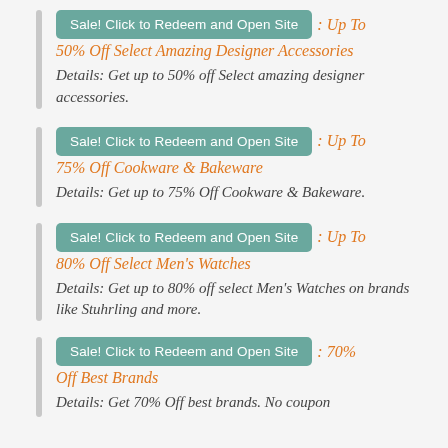Sale! Click to Redeem and Open Site : Up To 50% Off Select Amazing Designer Accessories Details: Get up to 50% off Select amazing designer accessories.
Sale! Click to Redeem and Open Site : Up To 75% Off Cookware & Bakeware Details: Get up to 75% Off Cookware & Bakeware.
Sale! Click to Redeem and Open Site : Up To 80% Off Select Men's Watches Details: Get up to 80% off select Men's Watches on brands like Stuhrling and more.
Sale! Click to Redeem and Open Site : 70% Off Best Brands Details: Get 70% Off best brands. No coupon